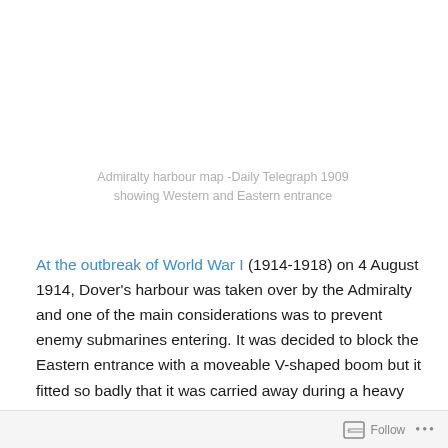Admiralty harbour map -Daily Telegraph 1909 showing Western and Eastern entrance
At the outbreak of World War I (1914-1918) on 4 August 1914, Dover's harbour was taken over by the Admiralty and one of the main considerations was to prevent enemy submarines entering. It was decided to block the Eastern entrance with a moveable V-shaped boom but it fitted so badly that it was carried away during a heavy sea … as was its replacements! With regards to the Western
Follow